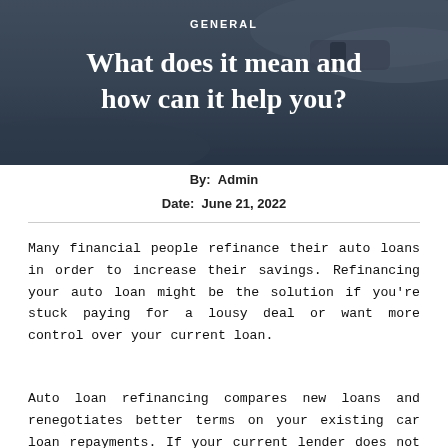[Figure (photo): Hero image with dark background showing hands/arm, overlaid with article category label and title text]
GENERAL
What does it mean and how can it help you?
By:  Admin
Date:  June 21, 2022
Many financial people refinance their auto loans in order to increase their savings. Refinancing your auto loan might be the solution if you're stuck paying for a lousy deal or want more control over your current loan.
Auto loan refinancing compares new loans and renegotiates better terms on your existing car loan repayments. If your current lender does not provide